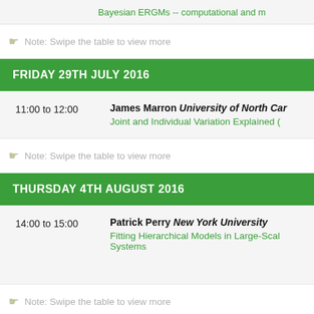Bayesian ERGMs -- computational and m
Note: Swipe the table to view more
FRIDAY 29TH JULY 2016
| Time | Speaker / Talk |
| --- | --- |
| 11:00 to 12:00 | James Marron University of North Car
Joint and Individual Variation Explained ( |
Note: Swipe the table to view more
THURSDAY 4TH AUGUST 2016
| Time | Speaker / Talk |
| --- | --- |
| 14:00 to 15:00 | Patrick Perry New York University
Fitting Hierarchical Models in Large-Scale Systems |
Note: Swipe the table to view more